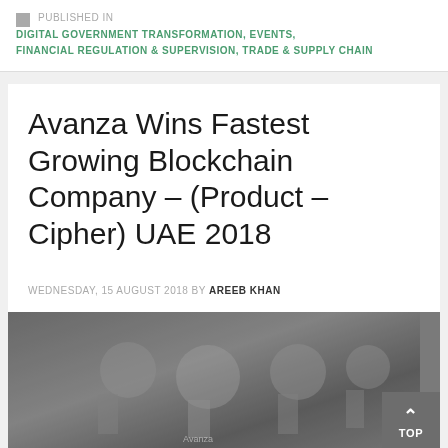PUBLISHED IN DIGITAL GOVERNMENT TRANSFORMATION, EVENTS, FINANCIAL REGULATION & SUPERVISION, TRADE & SUPPLY CHAIN
Avanza Wins Fastest Growing Blockchain Company – (Product – Cipher) UAE 2018
WEDNESDAY, 15 AUGUST 2018 BY AREEB KHAN
[Figure (photo): Event photo showing trophies or awards displayed on a table, with people in the background, dark/muted tones]